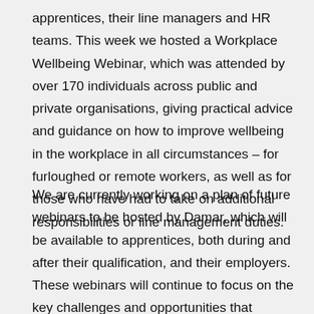apprentices, their line managers and HR teams. This week we hosted a Workplace Wellbeing Webinar, which was attended by over 170 individuals across public and private organisations, giving practical advice and guidance on how to improve wellbeing in the workplace in all circumstances – for furloughed or remote workers, as well as for those who have had to take on additional responsibilities or line management duties.
We are currently working on a plan of future webinars to be hosted by Damar, which will be available to apprentices, both during and after their qualification, and their employers. These webinars will continue to focus on the key challenges and opportunities that people and businesses have, as we move forward into the future.